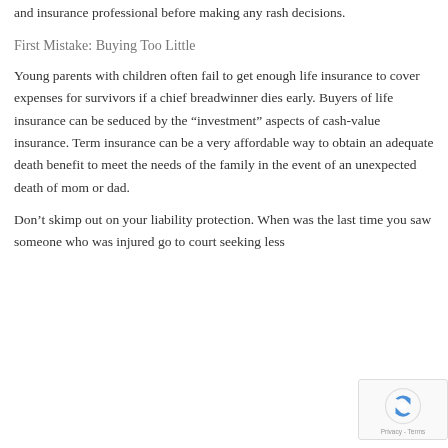and insurance professional before making any rash decisions.
First Mistake: Buying Too Little
Young parents with children often fail to get enough life insurance to cover expenses for survivors if a chief breadwinner dies early. Buyers of life insurance can be seduced by the “investment” aspects of cash-value insurance. Term insurance can be a very affordable way to obtain an adequate death benefit to meet the needs of the family in the event of an unexpected death of mom or dad.
Don’t skimp out on your liability protection. When was the last time you saw someone who was injured go to court seeking less